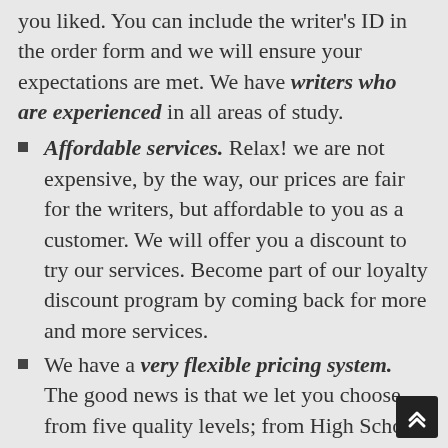you liked. You can include the writer's ID in the order form and we will ensure your expectations are met. We have writers who are experienced in all areas of study.
Affordable services. Relax! we are not expensive, by the way, our prices are fair for the writers, but affordable to you as a customer. We will offer you a discount to try our services. Become part of our loyalty discount program by coming back for more and more services.
We have a very flexible pricing system. The good news is that we let you choose from five quality levels; from High School to Ph.D. We also let you choose from different deadline;. from 5/6 hours to 20 days.